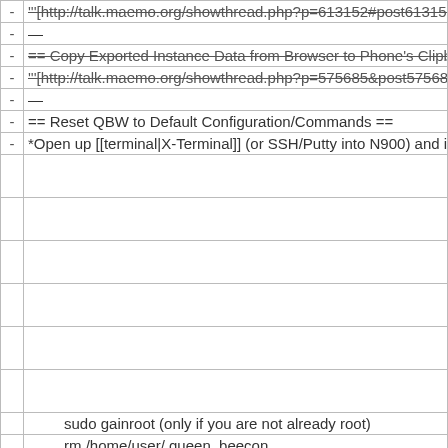| - | '''[http://talk.maemo.org/showthread.php?p=613152#post613152 See |
| - | — |
| - | == Copy Exported Instance Data from Browser to Phone's Clipboard |
| - | '''[http://talk.maemo.org/showthread.php?p=575685&post575685 See |
| - | — |
| - | == Reset QBW to Default Configuration/Commands == |
| - | *Open up [[terminal|X-Terminal]] (or SSH/Putty into N900) and issue |
|  |  |
|  |  |
|  |  |
|  |  |
|  |  |
|  |  |
|  | sudo gainroot (only if you are not already root) |
|  | rm /home/user/.queen_beecon |
|  | killall hildon-home |
| - | — |
| - | == Completely remove QBW from your N900 == |